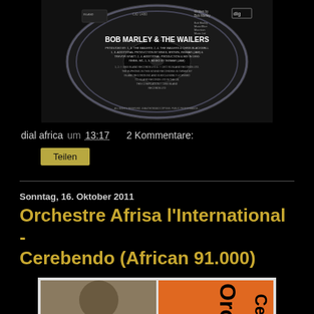[Figure (photo): CD disc of Bob Marley & The Wailers showing text including 'BOB MARLEY & THE WAILERS' and production credits on a black CD]
dial africa um 13:17   2 Kommentare:
Teilen
Sonntag, 16. Oktober 2011
Orchestre Afrisa l'International - Cerebendo (African 91.000)
[Figure (photo): Album cover of Orchestre Afrisa l'International - Cerebendo showing a portrait photo on the left and orange panel with text 'Orch.' and 'Cere' on the right]